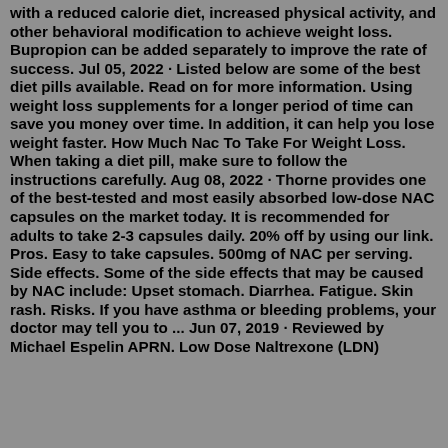with a reduced calorie diet, increased physical activity, and other behavioral modification to achieve weight loss. Bupropion can be added separately to improve the rate of success. Jul 05, 2022 · Listed below are some of the best diet pills available. Read on for more information. Using weight loss supplements for a longer period of time can save you money over time. In addition, it can help you lose weight faster. How Much Nac To Take For Weight Loss. When taking a diet pill, make sure to follow the instructions carefully. Aug 08, 2022 · Thorne provides one of the best-tested and most easily absorbed low-dose NAC capsules on the market today. It is recommended for adults to take 2-3 capsules daily. 20% off by using our link. Pros. Easy to take capsules. 500mg of NAC per serving. Side effects. Some of the side effects that may be caused by NAC include: Upset stomach. Diarrhea. Fatigue. Skin rash. Risks. If you have asthma or bleeding problems, your doctor may tell you to ... Jun 07, 2019 · Reviewed by Michael Espelin APRN. Low Dose Naltrexone (LDN)